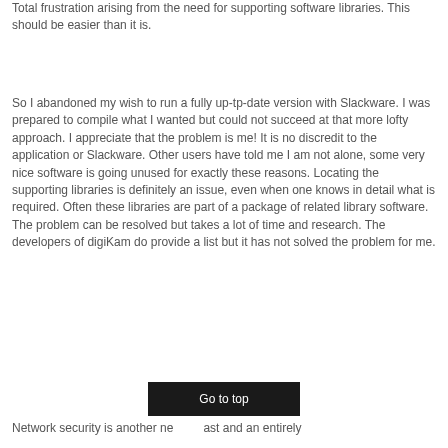Total frustration arising from the need for supporting software libraries. This should be easier than it is.
So I abandoned my wish to run a fully up-tp-date version with Slackware. I was prepared to compile what I wanted but could not succeed at that more lofty approach. I appreciate that the problem is me! It is no discredit to the application or Slackware. Other users have told me I am not alone, some very nice software is going unused for exactly these reasons. Locating the supporting libraries is definitely an issue, even when one knows in detail what is required. Often these libraries are part of a package of related library software. The problem can be resolved but takes a lot of time and research. The developers of digiKam do provide a list but it has not solved the problem for me.
Go to top
Network security is another ne... ...ast and an entirely